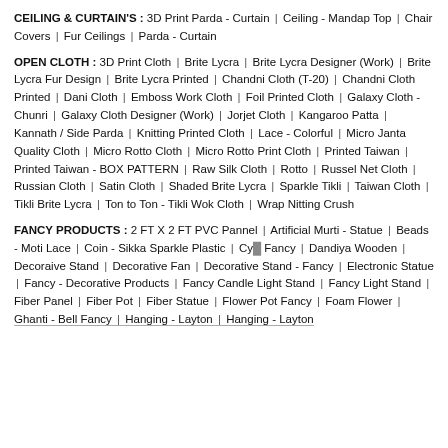CEILING & CURTAIN'S : 3D Print Parda - Curtain | Ceiling - Mandap Top | Chair Covers | Fur Ceilings | Parda - Curtain
OPEN CLOTH : 3D Print Cloth | Brite Lycra | Brite Lycra Designer (Work) | Brite Lycra Fur Design | Brite Lycra Printed | Chandni Cloth (T-20) | Chandni Cloth Printed | Dani Cloth | Emboss Work Cloth | Foil Printed Cloth | Galaxy Cloth - Chunri | Galaxy Cloth Designer (Work) | Jorjet Cloth | Kangaroo Patta | Kannath / Side Parda | Knitting Printed Cloth | Lace - Colorful | Micro Janta Quality Cloth | Micro Rotto Cloth | Micro Rotto Print Cloth | Printed Taiwan | Printed Taiwan - BOX PATTERN | Raw Silk Cloth | Rotto | Russel Net Cloth | Russian Cloth | Satin Cloth | Shaded Brite Lycra | Sparkle Tikli | Taiwan Cloth | Tikli Brite Lycra | Ton to Ton - Tikli Wok Cloth | Wrap Nitting Crush
FANCY PRODUCTS : 2 FT X 2 FT PVC Pannel | Artificial Murti - Statue | Beads - Moti Lace | Coin - Sikka Sparkle Plastic | Cy... Fancy | Dandiya Wooden | Decoraive Stand | Decorative Fan | Decorative Stand - Fancy | Electronic Statue | Fancy - Decorative Products | Fancy Candle Light Stand | Fancy Light Stand | Fiber Panel | Fiber Pot | Fiber Statue | Flower Pot Fancy | Foam Flower | Ghanti - Bell Fancy | Hanging - Layton | Hanging - Layton...